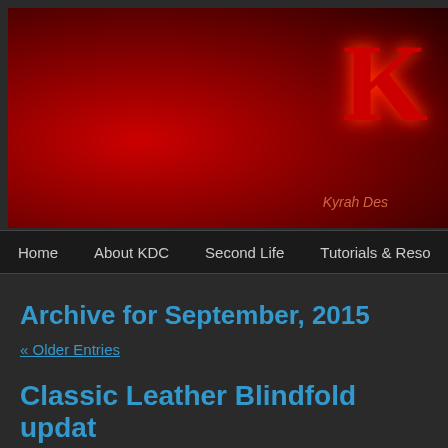[Figure (illustration): Dark red banner with gothic styled logo letters 'K' in red glow on right side, and text 'Kyrah Des...' subtitle. Background has dark red radial gradient with shadowy figure.]
Home   About KDC   Second Life   Tutorials & Reso...
Archive for September, 2015
« Older Entries
Classic Leather Blindfold updat...
September 27th, 2015 | Author: Kyrah Abattoir
I pushed yesterday a small patch to the blindfolds that shaves abou...